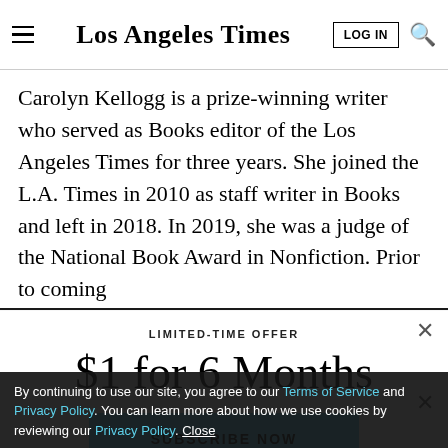Los Angeles Times
Carolyn Kellogg is a prize-winning writer who served as Books editor of the Los Angeles Times for three years. She joined the L.A. Times in 2010 as staff writer in Books and left in 2018. In 2019, she was a judge of the National Book Award in Nonfiction. Prior to coming
LIMITED-TIME OFFER
$1 for 6 Months
SUBSCRIBE NOW
By continuing to use our site, you agree to our Terms of Service and Privacy Policy. You can learn more about how we use cookies by reviewing our Privacy Policy. Close